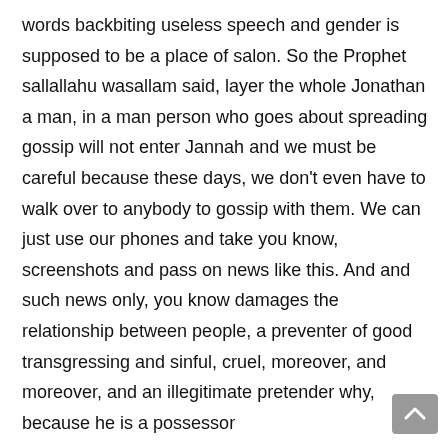words backbiting useless speech and gender is supposed to be a place of salon. So the Prophet sallallahu wasallam said, layer the whole Jonathan a man, in a man person who goes about spreading gossip will not enter Jannah and we must be careful because these days, we don't even have to walk over to anybody to gossip with them. We can just use our phones and take you know, screenshots and pass on news like this. And and such news only, you know damages the relationship between people, a preventer of good transgressing and sinful, cruel, moreover, and moreover, and an illegitimate pretender why, because he is a possessor
00:45:50--> 00:46:36
of wealth and children. When our Verses are recited to them, he says legends of the former peoples, we will brand him upon the snout. You